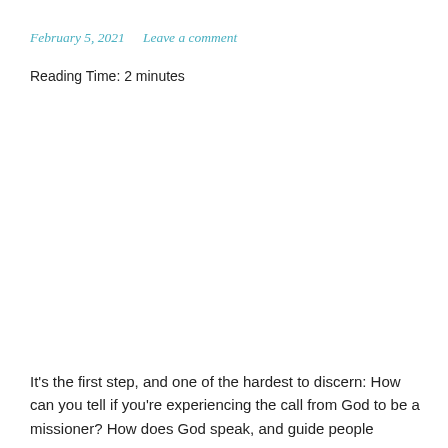February 5, 2021    Leave a comment
Reading Time: 2 minutes
It’s the first step, and one of the hardest to discern: How can you tell if you’re experiencing the call from God to be a missioner? How does God speak, and guide people